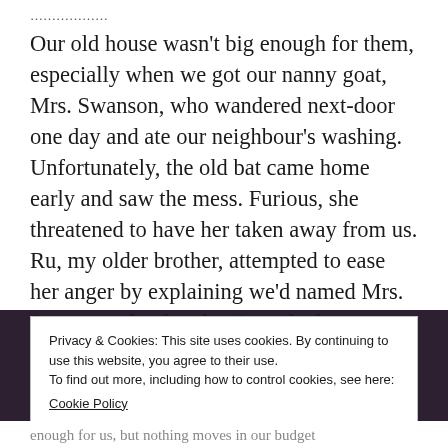………………
Our old house wasn't big enough for them, especially when we got our nanny goat, Mrs. Swanson, who wandered next-door one day and ate our neighbour's washing. Unfortunately, the old bat came home early and saw the mess. Furious, she threatened to have her taken away from us. Ru, my older brother, attempted to ease her anger by explaining we'd named Mrs. Swanson after her, but it made the situation much worse.
Privacy & Cookies: This site uses cookies. By continuing to use this website, you agree to their use.
To find out more, including how to control cookies, see here:
Cookie Policy
enough for us, but nothing moves in our budget